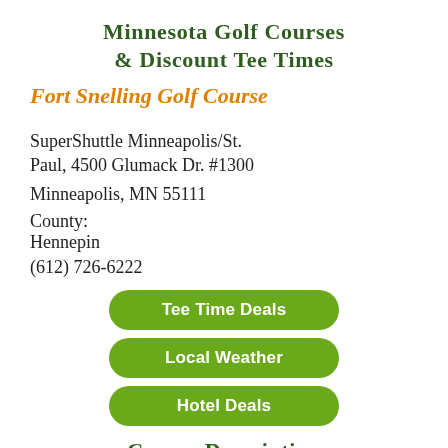Minnesota Golf Courses & Discount Tee Times
Fort Snelling Golf Course
SuperShuttle Minneapolis/St. Paul, 4500 Glumack Dr. #1300
Minneapolis, MN 55111
County:
Hennepin
(612) 726-6222
[Figure (infographic): Three green rounded rectangle buttons labeled: Tee Time Deals, Local Weather, Hotel Deals]
Course Description